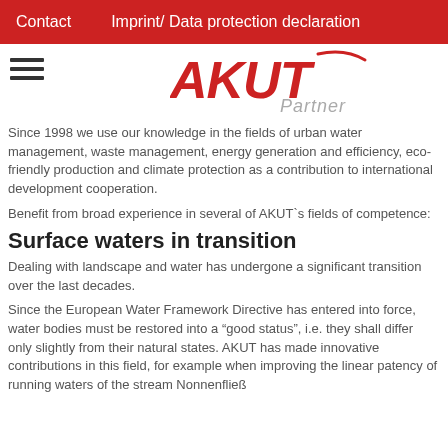Contact    Imprint/ Data protection declaration
[Figure (logo): AKUT Partner logo in red italic stylized font with grey 'Partner' text]
Since 1998 we use our knowledge in the fields of urban water management, waste management, energy generation and efficiency, eco-friendly production and climate protection as a contribution to international development cooperation.
Benefit from broad experience in several of AKUT`s fields of competence:
Surface waters in transition
Dealing with landscape and water has undergone a significant transition over the last decades.
Since the European Water Framework Directive has entered into force, water bodies must be restored into a “good status”, i.e. they shall differ only slightly from their natural states. AKUT has made innovative contributions in this field, for example when improving the linear patency of running waters of the stream Nonnenfließ